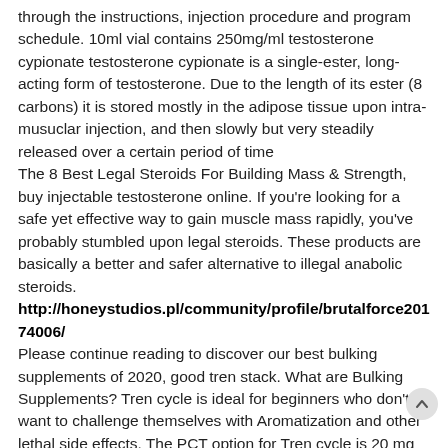through the instructions, injection procedure and program schedule. 10ml vial contains 250mg/ml testosterone cypionate testosterone cypionate is a single-ester, long-acting form of testosterone. Due to the length of its ester (8 carbons) it is stored mostly in the adipose tissue upon intra-musuclar injection, and then slowly but very steadily released over a certain period of time
The 8 Best Legal Steroids For Building Mass & Strength, buy injectable testosterone online. If you're looking for a safe yet effective way to gain muscle mass rapidly, you've probably stumbled upon legal steroids. These products are basically a better and safer alternative to illegal anabolic steroids.
http://honeystudios.pl/community/profile/brutalforce20174006/
Please continue reading to discover our best bulking supplements of 2020, good tren stack. What are Bulking Supplements? Tren cycle is ideal for beginners who don't want to challenge themselves with Aromatization and other lethal side effects. The PCT option for Tren cycle is 20 mg Nolvadex for 5 weeks, good tren stack. I gained 21 pounds of muscle and lost 12 pounds of fat just from taking the RAD140 from Proven Peptides by itself, so if you stack it with Ostarine or Ligandrol, you'll put on some crazy amounts of muscle. If you do decide to buy SARMs, I highly urge you to get them from Proven Peptides, good tren stack. Hardcore Test is a unique and precise combination of ingredients specifically designed to help men increase testosterone, increase strength, reduce body fat, improve